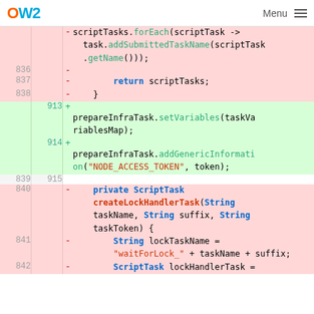OW2 Menu
[Figure (screenshot): Code diff view showing removed lines (red background) with line numbers 836-842 on the left and added lines (green background) with line numbers 913-914 on the right. The code is Java showing scriptTasks.forEach, return scriptTasks, prepareInfraTask.setVariables, prepareInfraTask.addGenericInformation, and a private ScriptTask createLockHandlerTask method definition.]